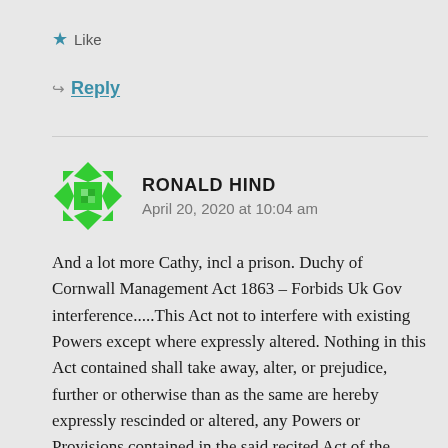★ Like
↪ Reply
[Figure (illustration): Green geometric avatar icon for user Ronald Hind]
RONALD HIND
April 20, 2020 at 10:04 am
And a lot more Cathy, incl a prison. Duchy of Cornwall Management Act 1863 – Forbids Uk Gov interference.....This Act not to interfere with existing Powers except where expressly altered. Nothing in this Act contained shall take away, alter, or prejudice, further or otherwise than as the same are hereby expressly rescinded or altered, any Powers or Provisions contained in the said recited Act of the Seventh and Eighth Years of the Reign of Her present Majesty, or an Act passed in the